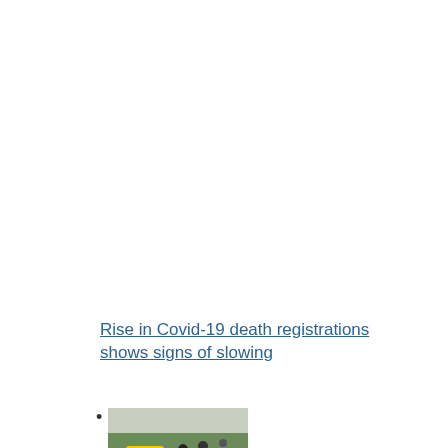Rise in Covid-19 death registrations shows signs of slowing
[Figure (photo): Thumbnail photo showing people walking on a path with a yellow Covid-19 safety signboard visible in the foreground]